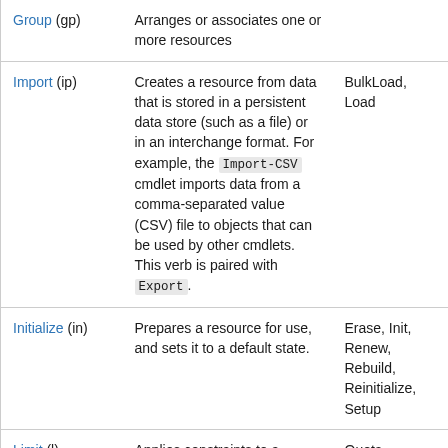| Verb | Description | Synonyms |
| --- | --- | --- |
| Group (gp) | Arranges or associates one or more resources |  |
| Import (ip) | Creates a resource from data that is stored in a persistent data store (such as a file) or in an interchange format. For example, the Import-CSV cmdlet imports data from a comma-separated value (CSV) file to objects that can be used by other cmdlets. This verb is paired with Export. | BulkLoad, Load |
| Initialize (in) | Prepares a resource for use, and sets it to a default state. | Erase, Init, Renew, Rebuild, Reinitialize, Setup |
| Limit (l) | Applies constraints to a resource. | Quota |